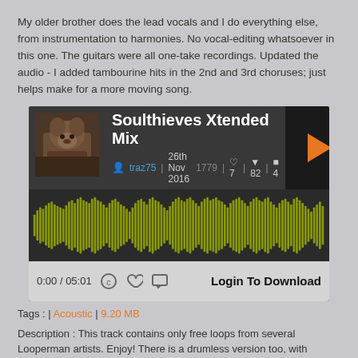My older brother does the lead vocals and I do everything else, from instrumentation to harmonies. No vocal-editing whatsoever in this one. The guitars were all one-take recordings. Updated the audio - I added tambourine hits in the 2nd and 3rd choruses; just helps make for a more moving song.
[Figure (screenshot): Audio player widget for 'Soulthieves Xtended Mix' by traz75, dated 26th Nov 2016, with play count 1779, hearts 7, downvotes 82, comments 4. Shows waveform visualization in olive/yellow-green color. Controls show 0:00 / 05:01 and Login To Download button.]
Tags : | Acoustic | 9.20 MB
Description : This track contains only free loops from several Looperman artists. Enjoy! There is a drumless version too, with completely different atmosphere : https://www.looperman.com/tracks/detail/181322